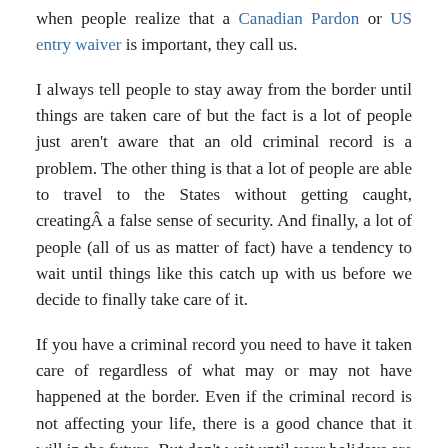when people realize that a Canadian Pardon or US entry waiver is important, they call us.
I always tell people to stay away from the border until things are taken care of but the fact is a lot of people just aren't aware that an old criminal record is a problem. The other thing is that a lot of people are able to travel to the States without getting caught, creatingÂ a false sense of security. And finally, a lot of people (all of us as matter of fact) have a tendency to wait until things like this catch up with us before we decide to finally take care of it.
If you have a criminal record you need to have it taken care of regardless of what may or may not have happened at the border. Even if the criminal record is not affecting your life, there is a good chance that it will in the future. But don't wait until your holidays are ruined to finally make the decision to clear things up. Give us a call at the National